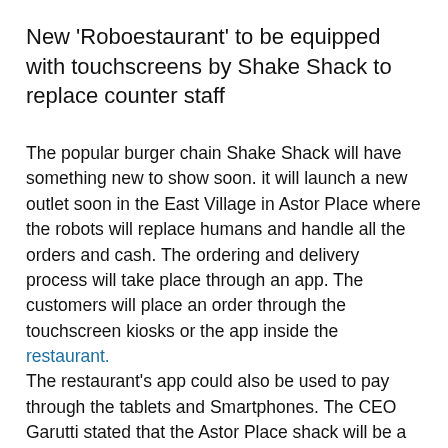New 'Roboestaurant' to be equipped with touchscreens by Shake Shack to replace counter staff
The popular burger chain Shake Shack will have something new to show soon. it will launch a new outlet soon in the East Village in Astor Place where the robots will replace humans and handle all the orders and cash. The ordering and delivery process will take place through an app. The customers will place an order through the touchscreen kiosks or the app inside the restaurant. The restaurant's app could also be used to pay through the tablets and Smartphones. The CEO Garutti stated that the Astor Place shack will be a testing ground where the company would be able to assess the